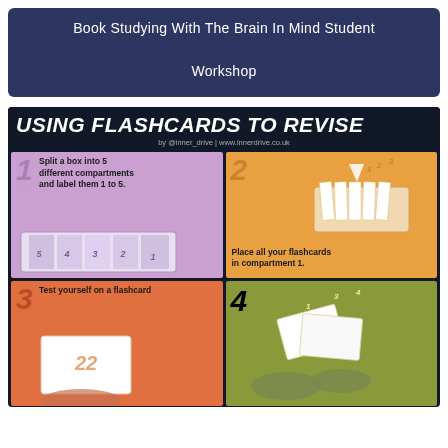Book Studying With The Brain In Mind Student Workshop
[Figure (infographic): Infographic titled 'USING FLASHCARDS TO REVISE' by @inner_drive | www.innerdrive.co.uk. Shows 4 steps in a 2x2 grid: 1) Split a box into 5 different compartments and label them 1 to 5 (purple background with illustration of labeled box compartments); 2) Place all your flashcards in compartment 1 (orange background with illustration of flashcards going into box); 3) Test yourself on a flashcard (coral/orange background with illustration of hand holding flashcard with number 22); 4) (olive green background with illustration of hands sorting flashcards labeled 3 and 4 into compartments)]